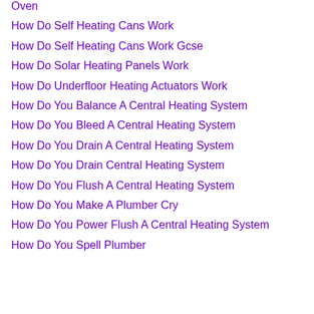Oven
How Do Self Heating Cans Work
How Do Self Heating Cans Work Gcse
How Do Solar Heating Panels Work
How Do Underfloor Heating Actuators Work
How Do You Balance A Central Heating System
How Do You Bleed A Central Heating System
How Do You Drain A Central Heating System
How Do You Drain Central Heating System
How Do You Flush A Central Heating System
How Do You Make A Plumber Cry
How Do You Power Flush A Central Heating System
How Do You Spell Plumber